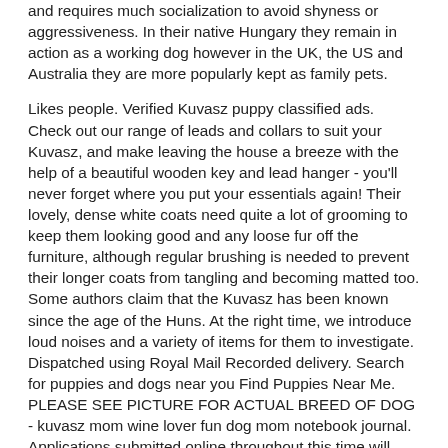and requires much socialization to avoid shyness or aggressiveness. In their native Hungary they remain in action as a working dog however in the UK, the US and Australia they are more popularly kept as family pets.
Likes people. Verified Kuvasz puppy classified ads. Check out our range of leads and collars to suit your Kuvasz, and make leaving the house a breeze with the help of a beautiful wooden key and lead hanger - you'll never forget where you put your essentials again! Their lovely, dense white coats need quite a lot of grooming to keep them looking good and any loose fur off the furniture, although regular brushing is needed to prevent their longer coats from tangling and becoming matted too. Some authors claim that the Kuvasz has been known since the age of the Huns. At the right time, we introduce loud noises and a variety of items for them to investigate. Dispatched using Royal Mail Recorded delivery. Search for puppies and dogs near you Find Puppies Near Me. PLEASE SEE PICTURE FOR ACTUAL BREED OF DOG - kuvasz mom wine lover fun dog mom notebook journal. Applications submitted online throughout this time will continue to be processed as usual. We will send you an email notification, Details: vintage, sheepdog, earrings, actual, breed, note, unworn, return, hygiene, concerns, Used, THE DOGS OF HUNGARY BY TIBOR BUZADY VIZSLA K, Details: dogs, hungary, tibor, buzady, vizsla, kuvasz, komondor, puli, pumi, mudi, Details: ready, mounted, original, print, komondor, kuvasz, bookplate, dating, supplied, acid, The Kuvasz: A Complete and Comprehensive Owners Gu. 3 day Auction THE DOGS OF HUNGARY BY TIBOR in Used Good Condition which will have signs of use 65 start! If you have any questions please feel free to ask. Kuvasz kennel: Fehér Csavargó presents